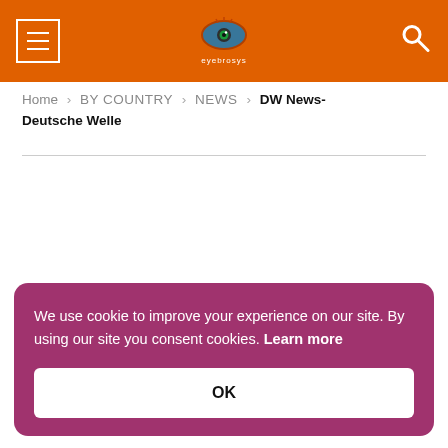DW (Deutsche Welle) website header with hamburger menu, logo, and search icon
Home > BY COUNTRY > NEWS > DW News- Deutsche Welle
We use cookie to improve your experience on our site. By using our site you consent cookies. Learn more
OK